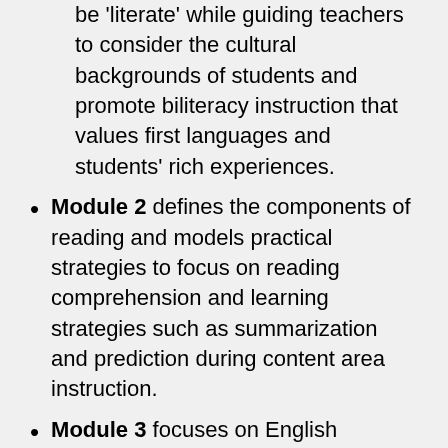be 'literate' while guiding teachers to consider the cultural backgrounds of students and promote biliteracy instruction that values first languages and students' rich experiences.
Module 2 defines the components of reading and models practical strategies to focus on reading comprehension and learning strategies such as summarization and prediction during content area instruction.
Module 3 focuses on English language writing development and literacy scaffolds that can support and build the necessary skills to meet the content and language demands of a grade-level writing task.